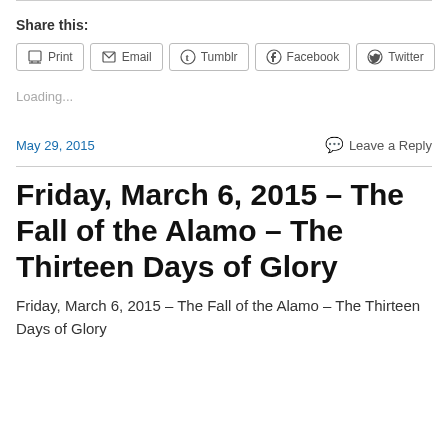Share this:
[Figure (other): Social share buttons: Print, Email, Tumblr, Facebook, Twitter]
Loading...
May 29, 2015
Leave a Reply
Friday, March 6, 2015 – The Fall of the Alamo – The Thirteen Days of Glory
Friday, March 6, 2015 – The Fall of the Alamo – The Thirteen Days of Glory